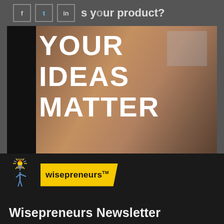s your product?
[Figure (photo): Photograph showing white bold text reading YOUR IDEAS MATTER on a glass window with a blurred brick wall background, dark left panel visible]
[Figure (logo): Wisepreneurs logo with illustrated figure character with sparkling head, and yellow banner reading 'wisepreneurs TM']
Wisepreneurs Newsletter